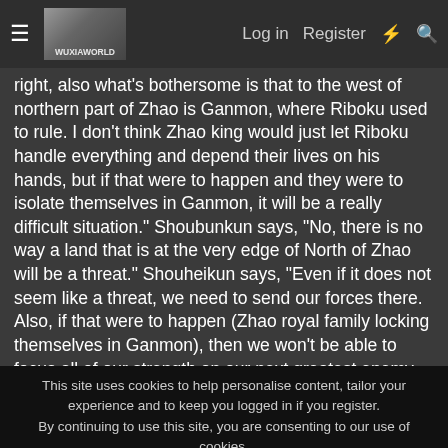≡  [logo]   Log in   Register   ⚡   🔍
right, also what's bothersome is that to the west of northern part of Zhao is Ganmon, where Riboku used to rule. I don't think Zhao king would just let Riboku handle everything and depend their lives on his hands, but if that were to happen and they were to isolate themselves in Ganmon, it will be a really difficult situation." Shoubunkun says, "No, there is no way a land that is at the very edge of North of Zhao will be a threat." Shouheikun says, "Even if it does not seem like a threat, we need to send our forces there. Also, if that were to happen (Zhao royal family locking themselves in Ganmon), then we won't be able to focus all of our strength on our next greatest enemy Chu. And not focusing all of our strength against a big nation like that means we can very well lose all of our lives." Sei says, "Is that what Ousen mean by to hit the Northern route before things like that were to happen?" Shouheikun says, "Yes that is right. Ousen
This site uses cookies to help personalise content, tailor your experience and to keep you logged in if you register.
By continuing to use this site, you are consenting to our use of cookies.
Accept   Learn more...